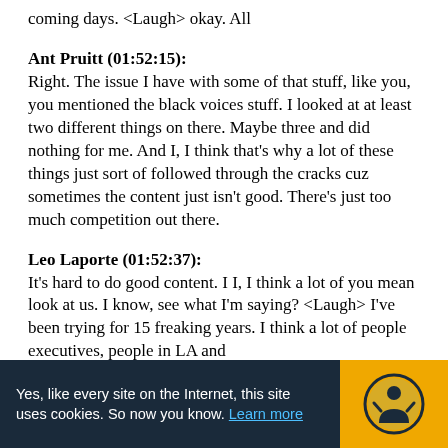coming days. <Laugh> okay. All
Ant Pruitt (01:52:15):
Right. The issue I have with some of that stuff, like you, you mentioned the black voices stuff. I looked at at least two different things on there. Maybe three and did nothing for me. And I, I think that's why a lot of these things just sort of followed through the cracks cuz sometimes the content just isn't good. There's just too much competition out there.
Leo Laporte (01:52:37):
It's hard to do good content. I I, I think a lot of you mean look at us. I know, see what I'm saying? <Laugh> I've been trying for 15 freaking years. I think a lot of people executives, people in LA and
Yes, like every site on the Internet, this site uses cookies. So now you know. Learn more